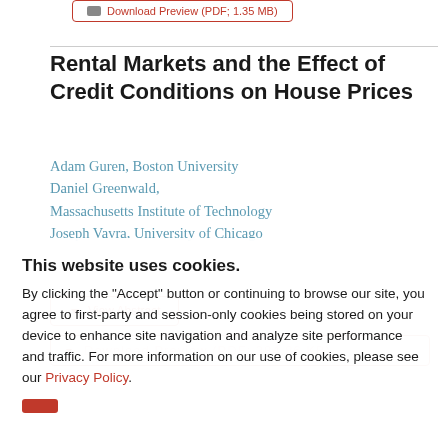Download Preview (PDF; 1.35 MB)
Rental Markets and the Effect of Credit Conditions on House Prices
Adam Guren, Boston University
Daniel Greenwald,
Massachusetts Institute of Technology
Joseph Vavra, University of Chicago
View Abstract
Download Preview (PDF; 384.86 KB)
This website uses cookies.
By clicking the "Accept" button or continuing to browse our site, you agree to first-party and session-only cookies being stored on your device to enhance site navigation and analyze site performance and traffic. For more information on our use of cookies, please see our Privacy Policy.